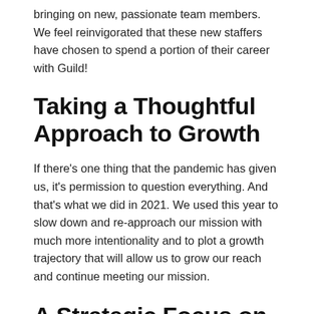bringing on new, passionate team members. We feel reinvigorated that these new staffers have chosen to spend a portion of their career with Guild!
Taking a Thoughtful Approach to Growth
If there's one thing that the pandemic has given us, it's permission to question everything. And that's what we did in 2021. We used this year to slow down and re-approach our mission with much more intentionality and to plot a growth trajectory that will allow us to grow our reach and continue meeting our mission.
A Strategic Focus on Building Infrastructure